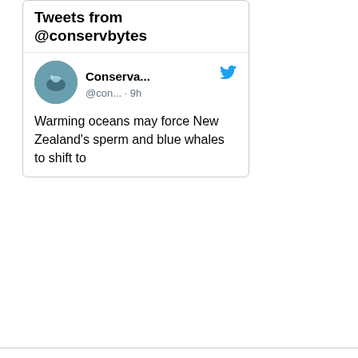[Figure (screenshot): Twitter widget showing tweets from @conservbytes with avatar, user name 'Conserva...', handle '@con... · 9h', and tweet text 'Warming oceans may force New Zealand's sperm and blue whales to shift to']
JUN 2011
| M | T | W | T | F | S | S |
| --- | --- | --- | --- | --- | --- | --- |
|  |  | 1 | 2 | 3 | 4 | 5 |
| 6 | 7 | 8 | 9 | 10 | 11 | 12 |
| 13 | 14 | 15 | 16 | 17 | 18 | 19 |
| 20 | 21 | 22 | 23 | 24 | 25 | 26 |
| 27 | 28 | 29 | 30 |  |  |  |
« May   Jul »